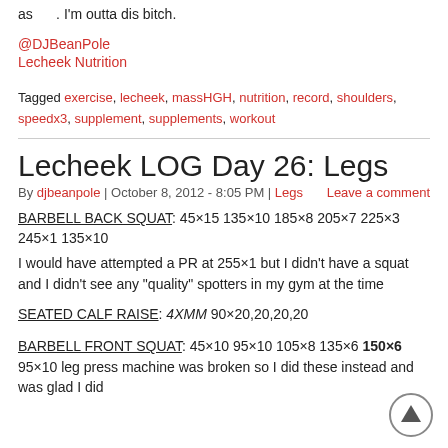as      . I'm outta dis bitch.
@DJBeanPole
Lecheek Nutrition
Tagged exercise, lecheek, massHGH, nutrition, record, shoulders, speedx3, supplement, supplements, workout
Lecheek LOG Day 26: Legs
By djbeanpole | October 8, 2012 - 8:05 PM | Legs   Leave a comment
BARBELL BACK SQUAT: 45×15 135×10 185×8 205×7 225×3 245×1 135×10
I would have attempted a PR at 255×1 but I didn't have a squat and I didn't see any "quality" spotters in my gym at the time
SEATED CALF RAISE: 4XMM 90×20,20,20,20
BARBELL FRONT SQUAT: 45×10 95×10 105×8 135×6 150×6 95×10 leg press machine was broken so I did these instead and was glad I did